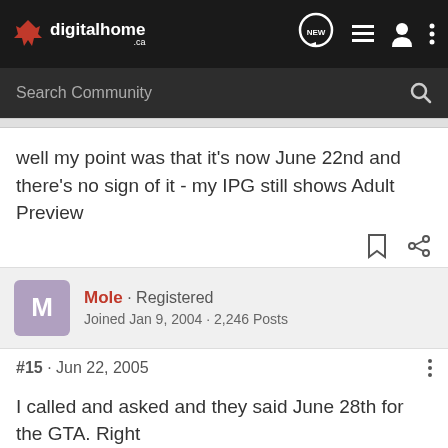[Figure (screenshot): digitalhome.ca website navigation bar with logo, NEW bubble icon, list icon, user icon, and three-dot menu icon]
[Figure (screenshot): Search Community search bar on dark background]
well my point was that it's now June 22nd and there's no sign of it - my IPG still shows Adult Preview
Mole · Registered
Joined Jan 9, 2004 · 2,246 Posts
#15 · Jun 22, 2005
I called and asked and they said June 28th for the GTA. Right